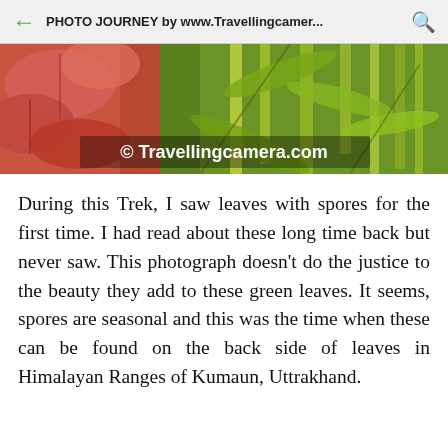PHOTO JOURNEY by www.Travellingcamer...
[Figure (photo): Close-up photograph of leaves with reddish-pink and green vegetation, watermarked with '© Travellingcamera.com']
During this Trek, I saw leaves with spores for the first time. I had read about these long time back but never saw. This photograph doesn't do the justice to the beauty they add to these green leaves. It seems, spores are seasonal and this was the time when these can be found on the back side of leaves in Himalayan Ranges of Kumaun, Uttrakhand.